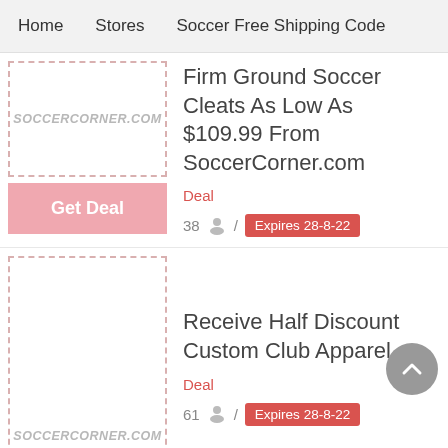Home   Stores   Soccer Free Shipping Code
[Figure (logo): SOCCERCORNER.COM logo in dashed border box]
Firm Ground Soccer Cleats As Low As $109.99 From SoccerCorner.com
Deal
38 / Expires 28-8-22
Get Deal
[Figure (logo): SOCCERCORNER.COM logo in dashed border box]
Receive Half Discount Custom Club Apparel
Deal
61 / Expires 28-8-22
Get Deal